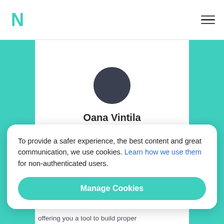Navbar with logo N and hamburger menu
[Figure (illustration): Profile card for Oana Vintila, Career Counselor. Dark circular avatar centered, name in bold, title below, decorative teal side bars.]
Oana Vintila
Career Counselor
To provide a safer experience, the best content and great communication, we use cookies. Learn how we use them for non-authenticated users.
Manage Cookies
offering you a tool to build proper